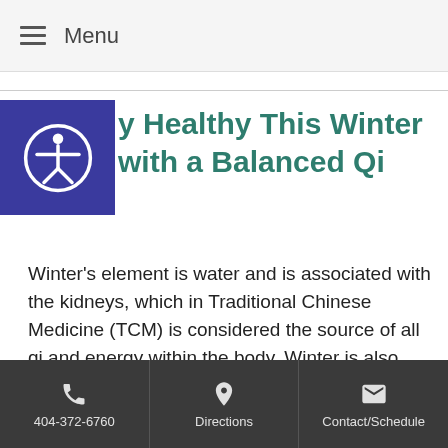Menu
Stay Healthy This Winter with a Balanced Qi
Winter’s element is water and is associated with the kidneys, which in Traditional Chinese Medicine (TCM) is considered the source of all qi and energy within the body. Winter is also associated with the bladder and adrenal glands.
Focusing on inner reflection, rest, energy conservation and storage during the winter months is when it’s most
404-372-6760 | Directions | Contact/Schedule